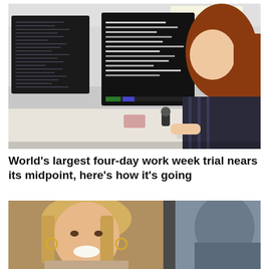[Figure (photo): A woman with long red hair sitting at a desk with two large computer monitors showing dark-themed code/terminal screens in an open office environment.]
World's largest four-day work week trial nears its midpoint, here's how it's going
[Figure (photo): A smiling blonde woman in the foreground and a second person partially visible to the right, photographed outdoors.]